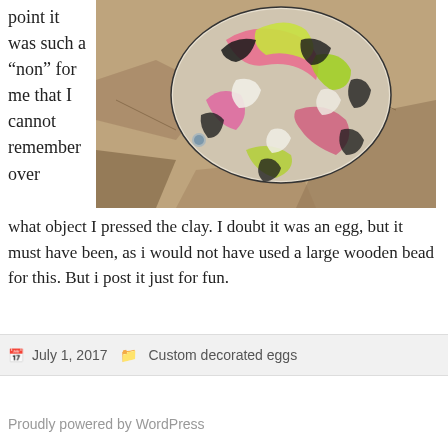point it was such a “non” for me that I cannot remember over
[Figure (photo): A colorful decorative egg or bead with swirling pink, yellow, green, black and white patterns, resting on a rocky surface.]
what object I pressed the clay. I doubt it was an egg, but it must have been, as i would not have used a large wooden bead for this. But i post it just for fun.
July 1, 2017   Custom decorated eggs
Proudly powered by WordPress